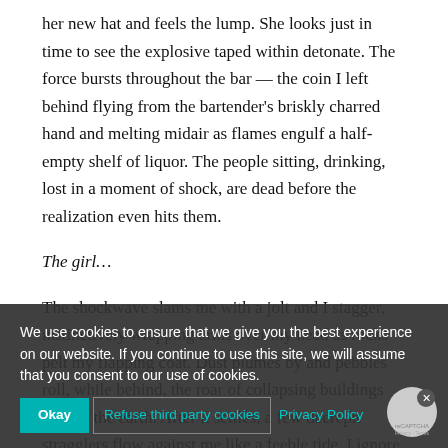her new hat and feels the lump. She looks just in time to see the explosive taped within detonate. The force bursts throughout the bar — the coin I left behind flying from the bartender's briskly charred hand and melting midair as flames engulf a half-empty shelf of liquor. The people sitting, drinking, lost in a moment of shock, are dead before the realization even hits them.
The girl…
The shockwave slams me with a jolt and I stagger, instinctively wrapping arms over my head as rocks pelt my flapping coat. Dust plumes by and pebbles roll, while behind, the roar of collapsing buildings quakes the earth. After it settles, a few decrepit stragglers flow against me like a feeble tide. I ignore them as I go, my next explosive already primed for their final bastion.
Slapping debris from my shoulder, I think of the woman and my stomach warms. It was — there's no place for things anymore — I've from so long ago, when I gazed into the glassy vacuum of Sarah's eyes.
We use cookies to ensure that we give you the best experience on our website. If you continue to use this site, we will assume that you consent to our use of cookies.